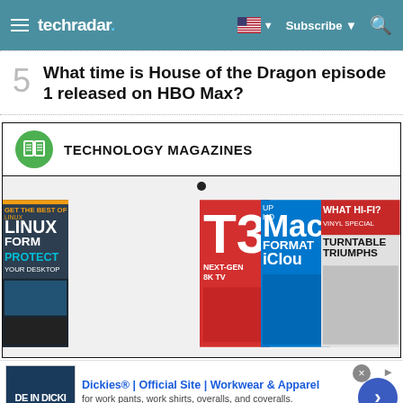techradar
5 What time is House of the Dragon episode 1 released on HBO Max?
[Figure (infographic): Technology Magazines advertisement banner with green book icon and magazine covers including Linux Format, T3, Mac Format, and What Hi-Fi?]
[Figure (advertisement): Dickies advertisement showing 'DE IN DICKI' text on image, with title 'Dickies® | Official Site | Workwear & Apparel', subtitle 'for work pants, work shirts, overalls, and coveralls.', URL 'www.dickies.com', and a blue arrow button]